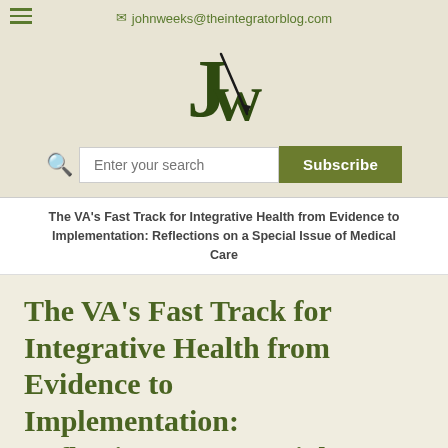johnweeks@theintegratorblog.com
[Figure (logo): JW logo with stylized J and W letters and a pen/quill]
[Figure (other): Search bar with 'Enter your search' placeholder and green Subscribe button]
The VA's Fast Track for Integrative Health from Evidence to Implementation: Reflections on a Special Issue of Medical Care
The VA's Fast Track for Integrative Health from Evidence to Implementation: Reflections on a Special Issue of Medical Care